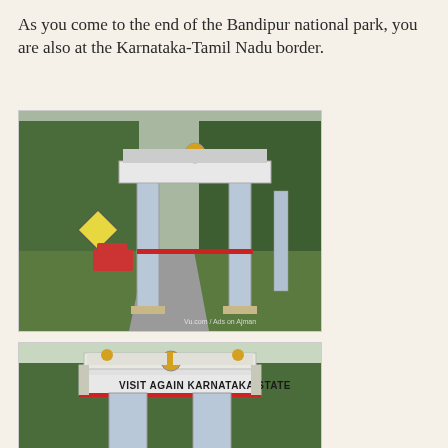As you come to the end of the Bandipur national park, you are also at the Karnataka-Tamil Nadu border.
[Figure (photo): Photo of a gate/archway at the Karnataka-Tamil Nadu border at Bandipur national park. Blue pillars, road leading through the gate, lush green vegetation on both sides, a red vehicle parked to the left, a diamond-shaped road sign visible on the left.]
[Figure (photo): Close-up photo of the top portion of the same border gate, showing text 'VISIT AGAIN KARNATAKA STATE' on the crossbeam, with decorative elements on top including a circular emblem.]